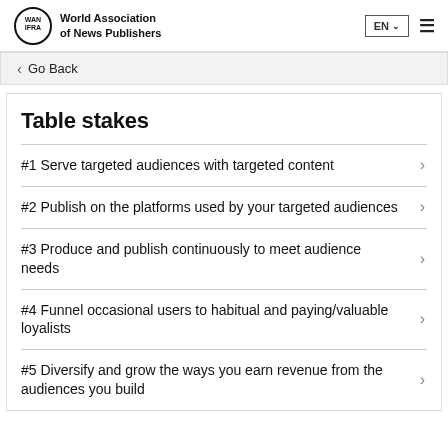World Association of News Publishers
Go Back
Table stakes
#1 Serve targeted audiences with targeted content
#2 Publish on the platforms used by your targeted audiences
#3 Produce and publish continuously to meet audience needs
#4 Funnel occasional users to habitual and paying/valuable loyalists
#5 Diversify and grow the ways you earn revenue from the audiences you build